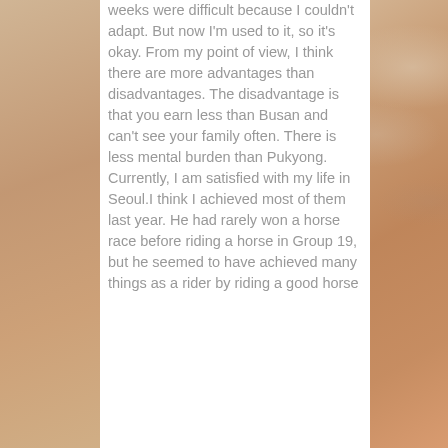weeks were difficult because I couldn't adapt. But now I'm used to it, so it's okay. From my point of view, I think there are more advantages than disadvantages. The disadvantage is that you earn less than Busan and can't see your family often. There is less mental burden than Pukyong. Currently, I am satisfied with my life in Seoul.I think I achieved most of them last year. He had rarely won a horse race before riding a horse in Group 19, but he seemed to have achieved many things as a rider by riding a good horse
[Figure (photo): Background photo of a cloudy sky with warm sepia/orange tones visible on the left and right sides of the page, flanking a white center panel with text.]